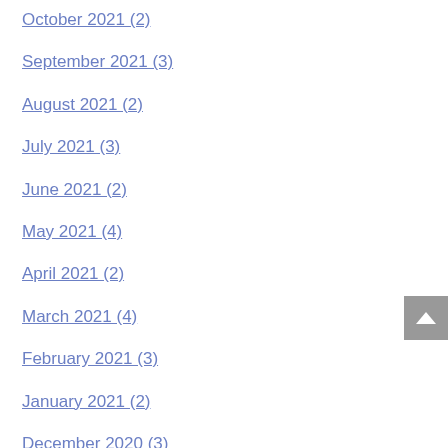October 2021 (2)
September 2021 (3)
August 2021 (2)
July 2021 (3)
June 2021 (2)
May 2021 (4)
April 2021 (2)
March 2021 (4)
February 2021 (3)
January 2021 (2)
December 2020 (3)